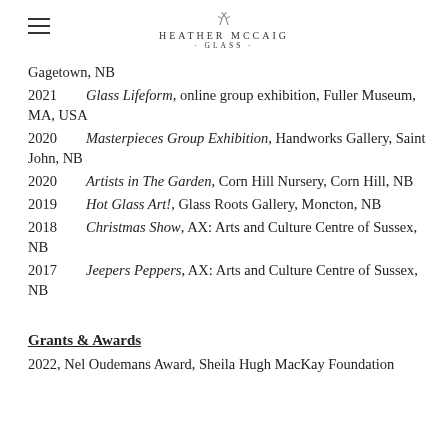HEATHER MCCAIG GLASS
Gagetown, NB
2021   Glass Lifeform, online group exhibition, Fuller Museum, MA, USA
2020   Masterpieces Group Exhibition, Handworks Gallery, Saint John, NB
2020   Artists in The Garden, Corn Hill Nursery, Corn Hill, NB
2019   Hot Glass Art!, Glass Roots Gallery, Moncton, NB
2018   Christmas Show, AX: Arts and Culture Centre of Sussex, NB
2017   Jeepers Peppers, AX: Arts and Culture Centre of Sussex, NB
Grants & Awards
2022, Nel Oudemans Award, Sheila Hugh MacKay Foundation